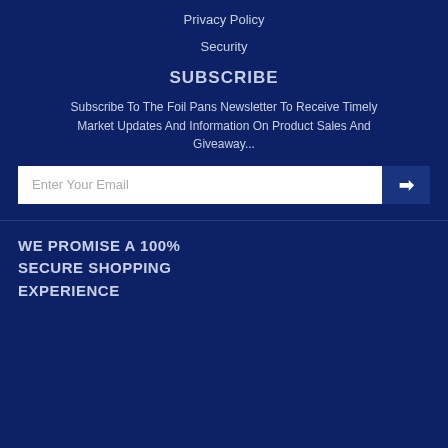Privacy Policy
Security
SUBSCRIBE
Subscribe To The Foil Pans Newsletter To Receive Timely Market Updates And Information On Product Sales And Giveaway...
Enter Your Email
WE PROMISE A 100%
SECURE SHOPPING
EXPERIENCE